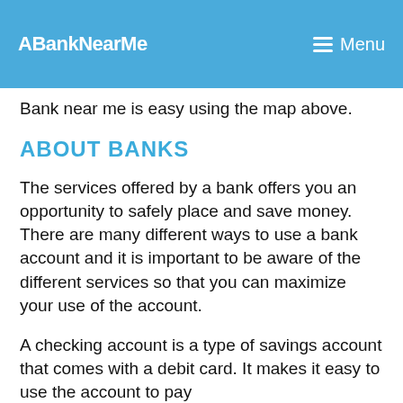ABankNearMe  Menu
Bank near me is easy using the map above.
ABOUT BANKS
The services offered by a bank offers you an opportunity to safely place and save money. There are many different ways to use a bank account and it is important to be aware of the different services so that you can maximize your use of the account.
A checking account is a type of savings account that comes with a debit card. It makes it easy to use the account to pay